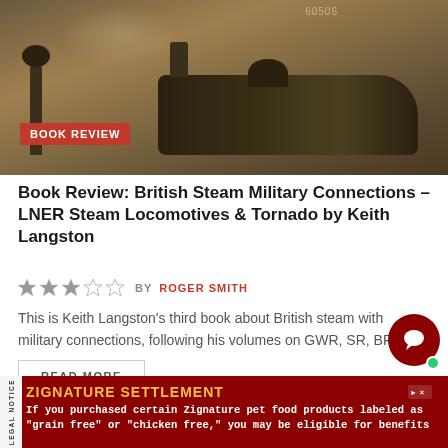[Figure (photo): Sepia-toned photograph of a steam locomotive (LNER), numbered 60506, with smoke and steam visible. A BOOK REVIEW badge in red is overlaid at the bottom left.]
Book Review: British Steam Military Connections – LNER Steam Locomotives & Tornado by Keith Langston
★★★☆☆ BY ROGER SMITH
This is Keith Langston's third book about British steam with military connections, following his volumes on GWR, SR, BR &...
READ MORE
Book Review: The Great Thorpe Railway Disaster 1874 by Phyllida Scrivens
ZIGNATURE SETTLEMENT
If you purchased certain Zignature pet food products labeled as "grain free" or "chicken free," you may be eligible for benefits